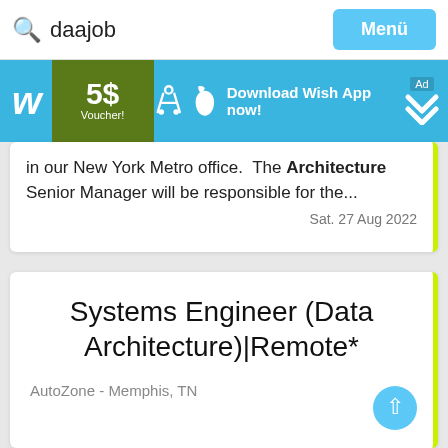daajob  Menü
[Figure (screenshot): Wish app advertisement banner: blue background with Wish 'w' logo, '5$ Voucher!' green box, Android and Apple icons, 'Download Wish App now!' text, and an 'Ad' chevron badge]
in our New York Metro office.  The Architecture Senior Manager will be responsible for the...
Sat. 27 Aug 2022
Systems Engineer (Data Architecture)|Remote*
AutoZone - Memphis, TN